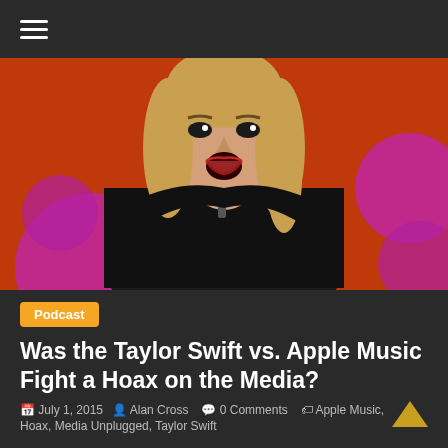☰ (hamburger menu)
[Figure (photo): Taylor Swift with surprised/shocked expression, wearing a black top, sitting in front of an orange/red background with pink/magenta circular decorative elements, appearing to be on a TV talk show set]
Podcast
Was the Taylor Swift vs. Apple Music Fight a Hoax on the Media?
July 1, 2015   Alan Cross   0 Comments   Apple Music, Hoax, Media Unplugged, Taylor Swift